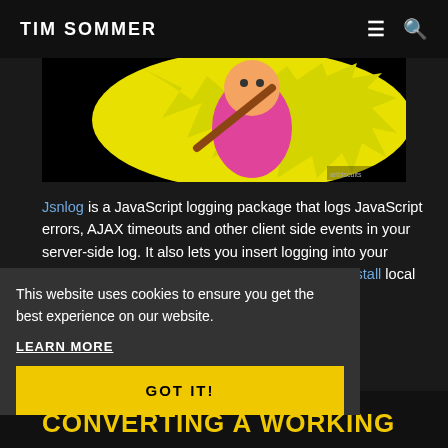TIM SOMMER
[Figure (illustration): Cartoon illustration of a pink and yellow character on black background]
Jsnlog is a JavaScript logging package that logs JavaScript errors, AJAX timeouts and other client side events in your server-side log. It also lets you insert logging into your JavaScript tools. Use it standalone, as an npm install local or using a Nuget package with MVC.Net bundles.
This website uses cookies to ensure you get the best experience on our website.
LEARN MORE
GOT IT!
CONVERTING A WORKING